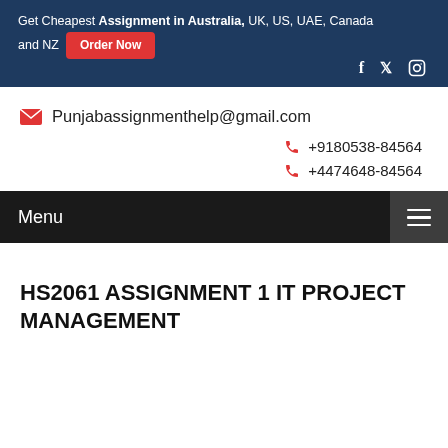Get Cheapest Assignment in Australia, UK, US, UAE, Canada and NZ  Order Now
Punjabassignmenthelp@gmail.com
+9180538-84564
+4474648-84564
Menu
HS2061 ASSIGNMENT 1 IT PROJECT MANAGEMENT